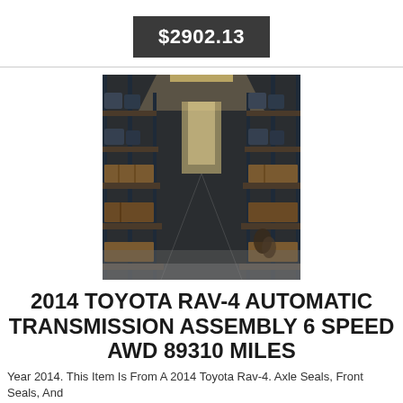$2902.13
[Figure (photo): Warehouse interior with shelving racks stocked with automotive transmissions and parts, perspective view down a long aisle.]
2014 TOYOTA RAV-4 AUTOMATIC TRANSMISSION ASSEMBLY 6 SPEED AWD 89310 MILES
Year 2014. This Item Is From A 2014 Toyota Rav-4. Axle Seals, Front Seals, And